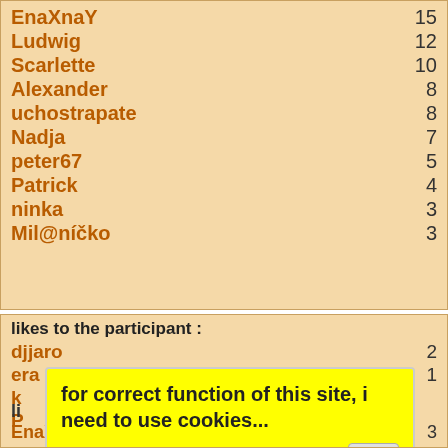| Name | Count |
| --- | --- |
| EnaXnaY | 15 |
| Ludwig | 12 |
| Scarlette | 10 |
| Alexander | 8 |
| uchostrapate | 8 |
| Nadja | 7 |
| peter67 | 5 |
| Patrick | 4 |
| ninka | 3 |
| Mil@níčko | 3 |
likes to the participant :
| Name | Count |
| --- | --- |
| djjaro | 2 |
| era | 1 |
for correct function of this site, i need to use cookies...
ok
li
EnaXnaY 3